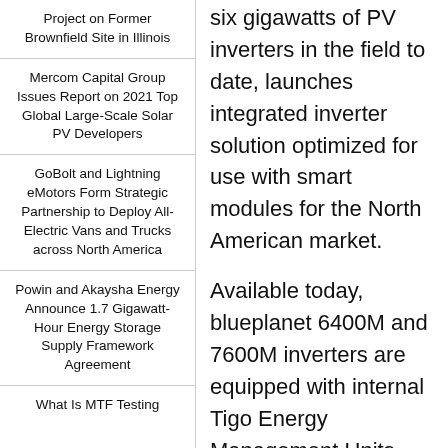Project on Former Brownfield Site in Illinois
Mercom Capital Group Issues Report on 2021 Top Global Large-Scale Solar PV Developers
GoBolt and Lightning eMotors Form Strategic Partnership to Deploy All-Electric Vans and Trucks across North America
Powin and Akaysha Energy Announce 1.7 Gigawatt-Hour Energy Storage Supply Framework Agreement
What Is MTF Testing
six gigawatts of PV inverters in the field to date, launches integrated inverter solution optimized for use with smart modules for the North American market.
Available today, blueplanet 6400M and 7600M inverters are equipped with internal Tigo Energy Management Units (MMUs) and the PV Safe™ button. This integrated solution simplifies system design,